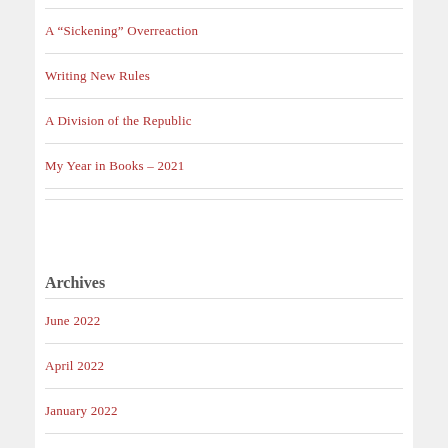A “Sickening” Overreaction
Writing New Rules
A Division of the Republic
My Year in Books – 2021
Archives
June 2022
April 2022
January 2022
December 2021